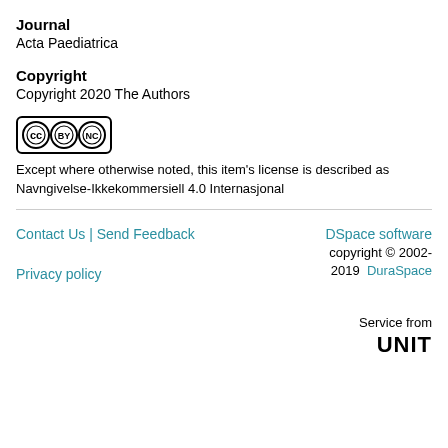Journal
Acta Paediatrica
Copyright
Copyright 2020 The Authors
[Figure (logo): Creative Commons BY-NC license badge with CC, BY, and NC icons in circles inside a rounded rectangle border]
Except where otherwise noted, this item's license is described as Navngivelse-Ikkekommersiell 4.0 Internasjonal
Contact Us | Send Feedback   DSpace software copyright © 2002-2019  DuraSpace   Service from UNIT